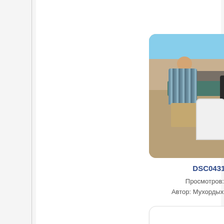[Figure (photo): Photograph of two people outdoors carrying or handling a large table or flat object. One person is seen from behind wearing a striped shirt and khaki shorts, another faces the camera wearing a dark shirt. A white plastic chair is visible in the background.]
DSC04311
Просмотров: 568
Автор: Мухордых Алексей
[Figure (photo): Partially visible white/blank card or photo thumbnail at the bottom of the page.]